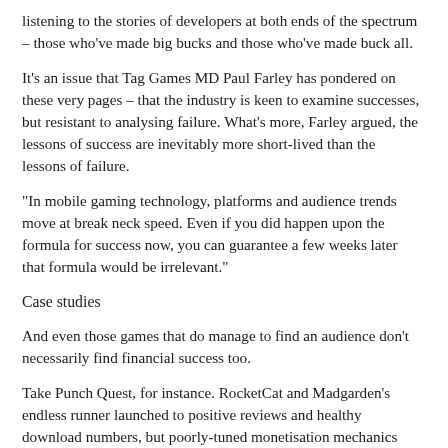listening to the stories of developers at both ends of the spectrum – those who've made big bucks and those who've made buck all.
It's an issue that Tag Games MD Paul Farley has pondered on these very pages – that the industry is keen to examine successes, but resistant to analysing failure. What's more, Farley argued, the lessons of success are inevitably more short-lived than the lessons of failure.
“In mobile gaming technology, platforms and audience trends move at break neck speed. Even if you did happen upon the formula for success now, you can guarantee a few weeks later that formula would be irrelevant.”
Case studies
And even those games that do manage to find an audience don’t necessarily find financial success too.
Take Punch Quest, for instance. RocketCat and Madgarden’s endless runner launched to positive reviews and healthy download numbers, but poorly-tuned monetisation mechanics left its developers out of pocket.
To their credit, RocketCat and Madgarden have been admirably open about the game’s difficulties, and the Punch Quest story can